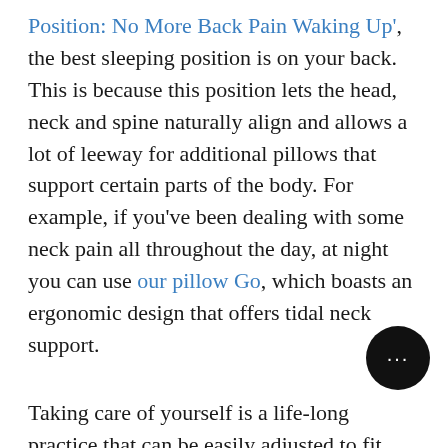Position: No More Back Pain Waking Up', the best sleeping position is on your back. This is because this position lets the head, neck and spine naturally align and allows a lot of leeway for additional pillows that support certain parts of the body. For example, if you've been dealing with some neck pain all throughout the day, at night you can use our pillow Go, which boasts an ergonomic design that offers tidal neck support.
Taking care of yourself is a life-long practice that can be easily adjusted to fit your lifestyle. However, while variations are fine, you have to make sure that you're doing the basics such as eating healthy, exercising and sleeping well.